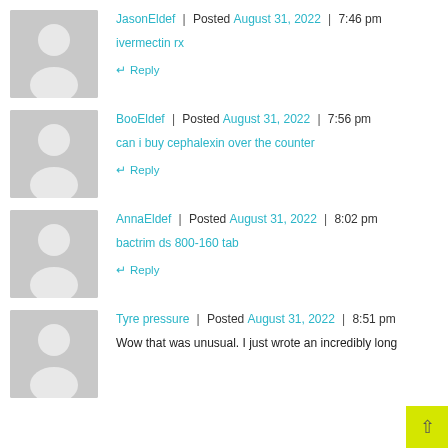JasonEldef | Posted August 31, 2022 | 7:46 pm
ivermectin rx
Reply
BooEldef | Posted August 31, 2022 | 7:56 pm
can i buy cephalexin over the counter
Reply
AnnaEldef | Posted August 31, 2022 | 8:02 pm
bactrim ds 800-160 tab
Reply
Tyre pressure | Posted August 31, 2022 | 8:51 pm
Wow that was unusual. I just wrote an incredibly long